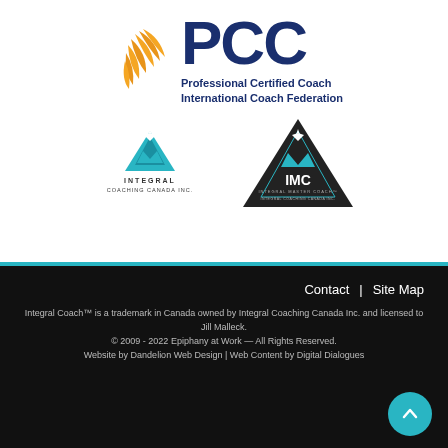[Figure (logo): PCC Professional Certified Coach - International Coach Federation logo with orange wing/leaf icon and dark blue PCC text]
[Figure (logo): Integral Coaching Canada Inc. logo - teal mountain/triangle with star icon and text]
[Figure (logo): IMC Integral Master Coach - Integral Coaching Canada Inc. logo inside dark triangle]
Contact  |  Site Map
Integral Coach™ is a trademark in Canada owned by Integral Coaching Canada Inc. and licensed to Jill Malleck.
© 2009 - 2022 Epiphany at Work — All Rights Reserved.
Website by Dandelion Web Design | Web Content by Digital Dialogues